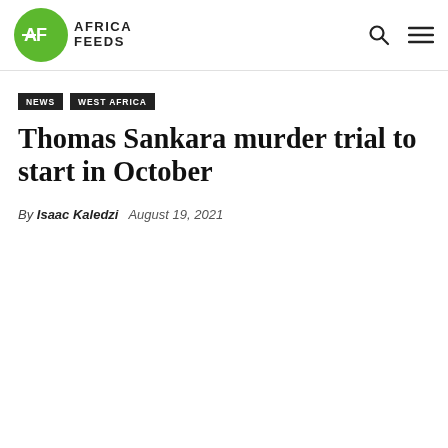Africa Feeds — NEWS | WEST AFRICA
Thomas Sankara murder trial to start in October
By Isaac Kaledzi   August 19, 2021